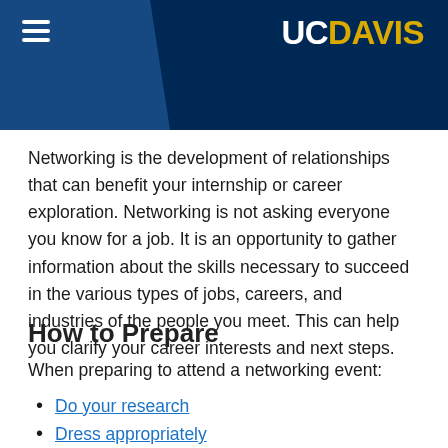UC DAVIS
Networking is the development of relationships that can benefit your internship or career exploration. Networking is not asking everyone you know for a job. It is an opportunity to gather information about the skills necessary to succeed in the various types of jobs, careers, and industries of the people you meet. This can help you clarify your career interests and next steps.
How to Prepare
When preparing to attend a networking event:
Do your research
Dress appropriately
Prepare a resume/CV to take, if appropriate